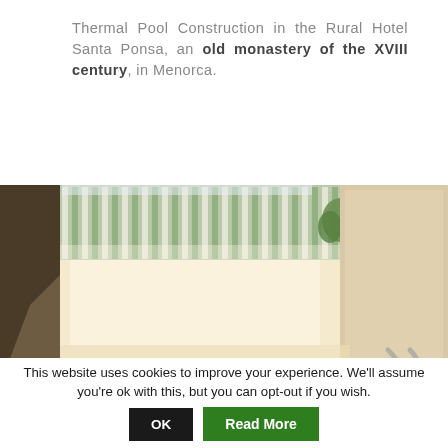Thermal Pool Construction in the Rural Hotel Santa Ponsa, an old monastery of the XVIII century, in Menorca.
[Figure (photo): Interior photograph of a thermal pool area in a hotel. The image shows warm beige/cream plastered walls, a louvered or slatted green and white screen or fence along the top, some greenery visible through the slats, and metal pool ladder rails visible at the lower right. The lighting is bright and warm.]
This website uses cookies to improve your experience. We'll assume you're ok with this, but you can opt-out if you wish. OK Read More